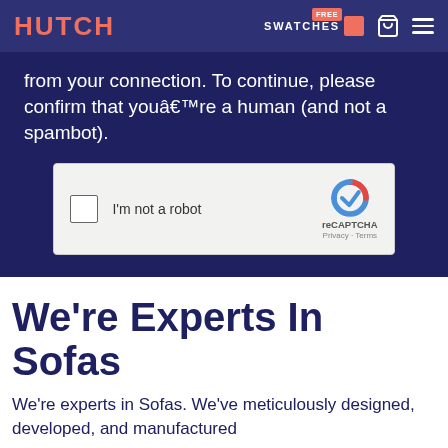HUTCH | FREE SWATCHES
from your connection. To continue, please confirm that youâ€™re a human (and not a spambot).
[Figure (screenshot): reCAPTCHA widget with checkbox labeled I'm not a robot, reCAPTCHA logo, Privacy and Terms links]
We're Experts In Sofas
We're experts in Sofas. We've meticulously designed, developed, and manufactured